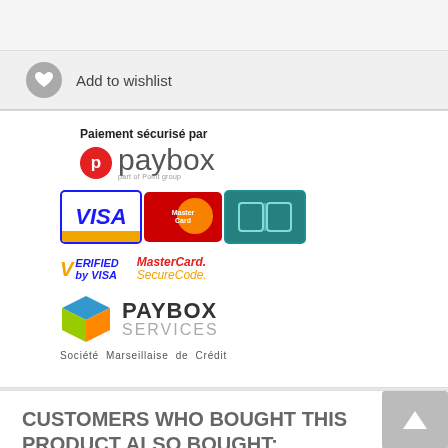[Figure (logo): Add to wishlist button with heart icon]
Add to wishlist
[Figure (logo): Paybox secure payment logos including Visa, MasterCard, CB, Verified by Visa, MasterCard SecureCode, Paybox Services, Société Marseillaise de Crédit]
Paiement sécurisé par
Société Marseillaise de Crédit
CUSTOMERS WHO BOUGHT THIS PRODUCT ALSO BOUGHT: